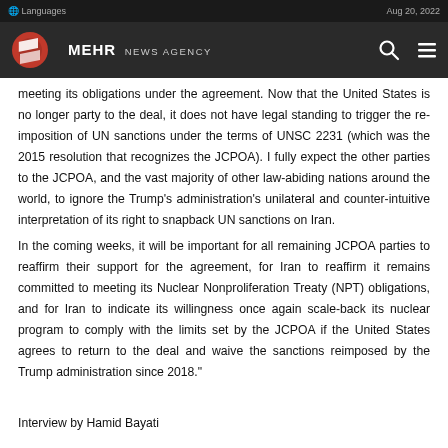Languages | Aug 20, 2022 | MEHR NEWS AGENCY
meeting its obligations under the agreement. Now that the United States is no longer party to the deal, it does not have legal standing to trigger the re-imposition of UN sanctions under the terms of UNSC 2231 (which was the 2015 resolution that recognizes the JCPOA). I fully expect the other parties to the JCPOA, and the vast majority of other law-abiding nations around the world, to ignore the Trump's administration's unilateral and counter-intuitive interpretation of its right to snapback UN sanctions on Iran.
In the coming weeks, it will be important for all remaining JCPOA parties to reaffirm their support for the agreement, for Iran to reaffirm it remains committed to meeting its Nuclear Nonproliferation Treaty (NPT) obligations, and for Iran to indicate its willingness once again scale-back its nuclear program to comply with the limits set by the JCPOA if the United States agrees to return to the deal and waive the sanctions reimposed by the Trump administration since 2018."
Interview by Hamid Bayati